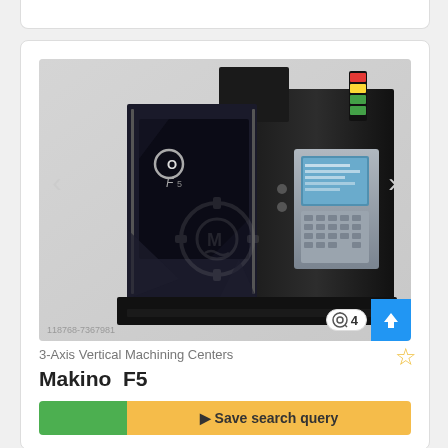[Figure (photo): Makino F5 3-Axis Vertical Machining Center CNC machine, black enclosure with glass door, control panel visible on right side, colorful status light tower on top right]
118768-7367981
4
3-Axis Vertical Machining Centers
Makino  F5
Save search query